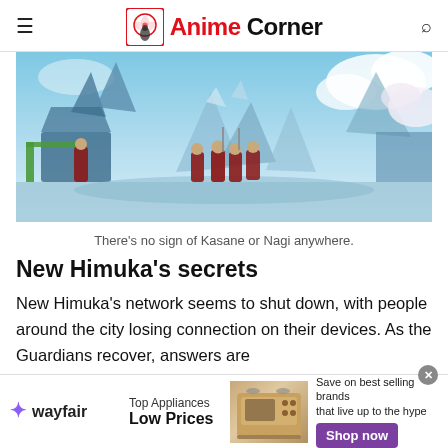Anime Corner
[Figure (photo): Anime scene showing warriors in red cloaks standing in a wrecked icy landscape with crumbling structures and a blue sky]
There's no sign of Kasane or Nagi anywhere.
New Himuka's secrets
New Himuka's network seems to shut down, with people around the city losing connection on their devices. As the Guardians recover, answers are
[Figure (infographic): Wayfair advertisement banner: Top Appliances Low Prices, Save on best selling brands that live up to the hype, Shop now button]